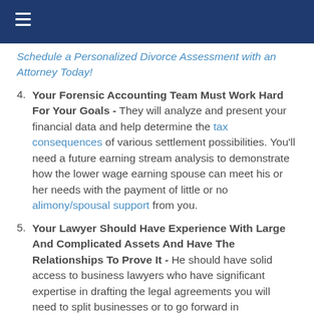Schedule a Personalized Divorce Assessment with an Attorney Today!
4. Your Forensic Accounting Team Must Work Hard For Your Goals - They will analyze and present your financial data and help determine the tax consequences of various settlement possibilities. You'll need a future earning stream analysis to demonstrate how the lower wage earning spouse can meet his or her needs with the payment of little or no alimony/spousal support from you.
5. Your Lawyer Should Have Experience With Large And Complicated Assets And Have The Relationships To Prove It - He should have solid access to business lawyers who have significant expertise in drafting the legal agreements you will need to split businesses or to go forward in